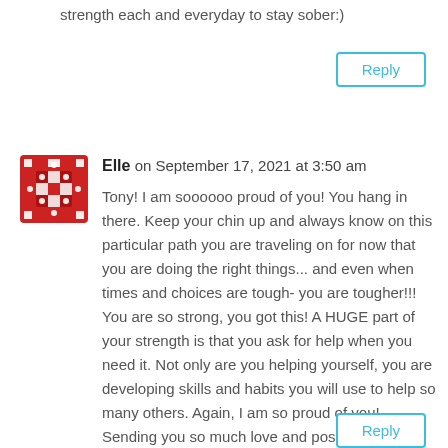strength each and everyday to stay sober:)
Reply
Elle on September 17, 2021 at 3:50 am
Tony! I am soooooo proud of you! You hang in there. Keep your chin up and always know on this particular path you are traveling on for now that you are doing the right things... and even when times and choices are tough- you are tougher!!! You are so strong, you got this! A HUGE part of your strength is that you ask for help when you need it. Not only are you helping yourself, you are developing skills and habits you will use to help so many others. Again, I am so proud of you! Sending you so much love and positive thoughts and prayers. Xoxo
Reply